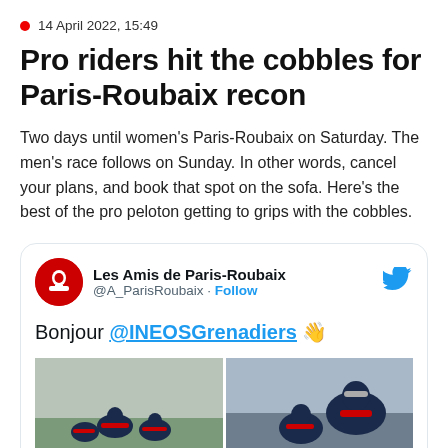14 April 2022, 15:49
Pro riders hit the cobbles for Paris-Roubaix recon
Two days until women's Paris-Roubaix on Saturday. The men's race follows on Sunday. In other words, cancel your plans, and book that spot on the sofa. Here's the best of the pro peloton getting to grips with the cobbles.
[Figure (screenshot): Embedded tweet from @A_ParisRoubaix (Les Amis de Paris-Roubaix) reading 'Bonjour @INEOSGrenadiers 👋' with two side-by-side photos of cyclists in red and dark blue INEOS Grenadiers kit riding on cobblestones.]